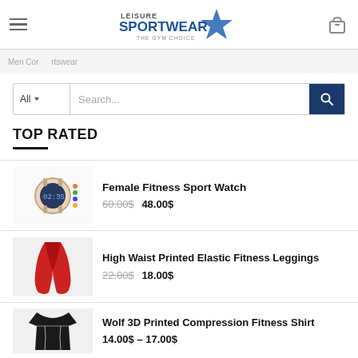Leisure Sportwear - The Gym Choice
TOP RATED
Female Fitness Sport Watch — 60.00$ 48.00$
High Waist Printed Elastic Fitness Leggings — 22.00$ 18.00$
Wolf 3D Printed Compression Fitness Shirt — 14.00$ – 17.00$